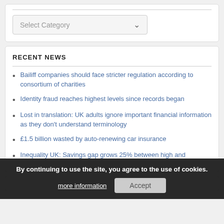[Figure (screenshot): Select Category dropdown UI element with light grey background and chevron arrow]
RECENT NEWS
Bailiff companies should face stricter regulation according to consortium of charities
Identity fraud reaches highest levels since records began
Lost in translation: UK adults ignore important financial information as they don't understand terminology
£1.5 billion wasted by auto-renewing car insurance
Inequality UK: Savings gap grows 25% between high and
By continuing to use the site, you agree to the use of cookies.
more information   Accept